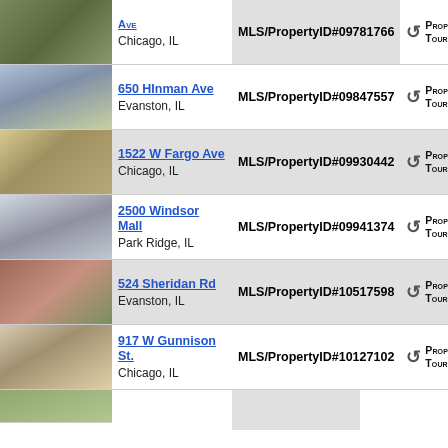| Photo | Address | MLS/PropertyID | Tour |
| --- | --- | --- | --- |
| [photo] | Ave
Chicago, IL | MLS/PropertyID#09781766 | VIEW PROPERTY TOUR |
| [photo] | 650 HInman Ave
Evanston, IL | MLS/PropertyID#09847557 | VIEW PROPERTY TOUR |
| [photo] | 1522 W Fargo Ave
Chicago, IL | MLS/PropertyID#09930442 | VIEW PROPERTY TOUR |
| [photo] | 2500 Windsor Mall
Park Ridge, IL | MLS/PropertyID#09941374 | VIEW PROPERTY TOUR |
| [photo] | 524 Sheridan Rd
Evanston, IL | MLS/PropertyID#10517598 | VIEW PROPERTY TOUR |
| [photo] | 917 W Gunnison St.
Chicago, IL | MLS/PropertyID#10127102 | VIEW PROPERTY TOUR |
| [photo] |  |  |  |